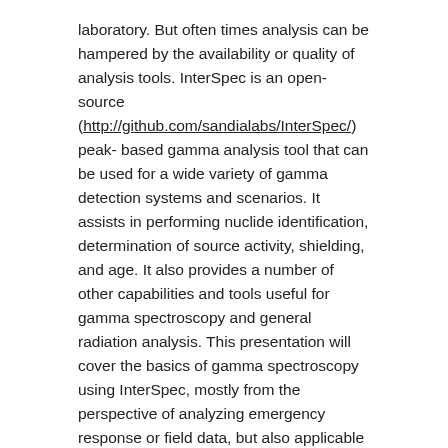laboratory. But often times analysis can be hampered by the availability or quality of analysis tools. InterSpec is an open-source (http://github.com/sandialabs/InterSpec/) peak- based gamma analysis tool that can be used for a wide variety of gamma detection systems and scenarios. It assists in performing nuclide identification, determination of source activity, shielding, and age. It also provides a number of other capabilities and tools useful for gamma spectroscopy and general radiation analysis. This presentation will cover the basics of gamma spectroscopy using InterSpec, mostly from the perspective of analyzing emergency response or field data, but also applicable for some laboratory measurement scenarios. Spectra will be provided at https://sandialabs.github.io/InterSpec/tutorials/ prior to the presentation to allow following along. Basics of x-ray and gamma detection will be assumed going in, but prior spectroscopic analysis experience will not be needed. Both novice, and experienced analysts will gain an understanding of using